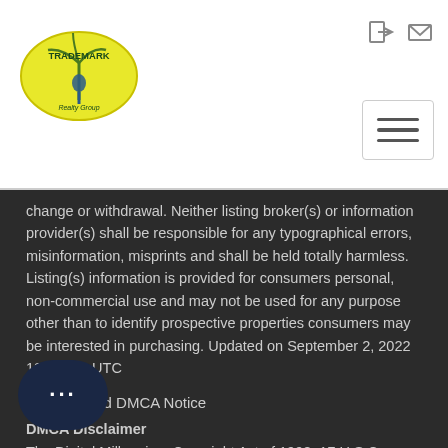[Figure (logo): Trademark Realty Group logo — yellow oval with palm tree and figure, text TRADEMARK Realty Group]
change or withdrawal. Neither listing broker(s) or information provider(s) shall be responsible for any typographical errors, misinformation, misprints and shall be held totally harmless. Listing(s) information is provided for consumers personal, non-commercial use and may not be used for any purpose other than to identify prospective properties consumers may be interested in purchasing. Updated on September 2, 2022 12:09 PM UTC
33. Required DMCA Notice
DMCA Disclaimer
The Digital Millennium Copyright Act of 1998, 17 U.S.C. §512, the DMCA provides recourse for copyright owners who believe that